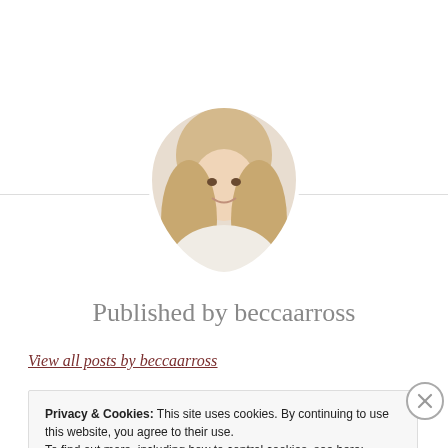[Figure (photo): Circular cropped profile photo of a young woman with long blonde hair wearing a white top, smiling at the camera]
Published by beccaarross
View all posts by beccaarross
Privacy & Cookies: This site uses cookies. By continuing to use this website, you agree to their use.
To find out more, including how to control cookies, see here: Cookie Policy
Close and accept